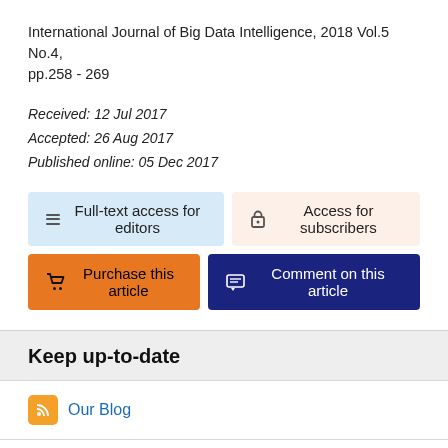International Journal of Big Data Intelligence, 2018 Vol.5 No.4, pp.258 - 269
Received: 12 Jul 2017
Accepted: 26 Aug 2017
Published online: 05 Dec 2017
[Figure (infographic): Four access/action buttons: 'Full-text access for editors' (blue), 'Access for subscribers' (peach), 'Purchase this article' (orange), 'Comment on this article' (dark navy)]
Keep up-to-date
Our Blog
Follow us on Twitter